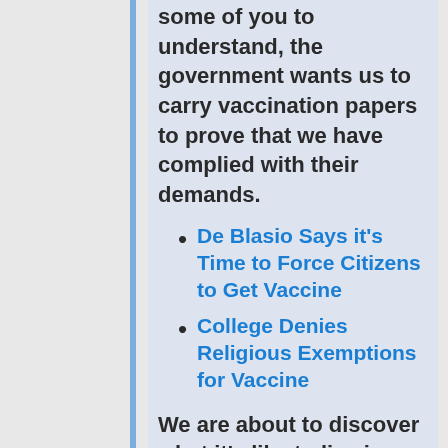some of you to understand, the government wants us to carry vaccination papers to prove that we have complied with their demands.
De Blasio Says it's Time to Force Citizens to Get Vaccine
College Denies Religious Exemptions for Vaccine
We are about to discover what it's like to live in a nation